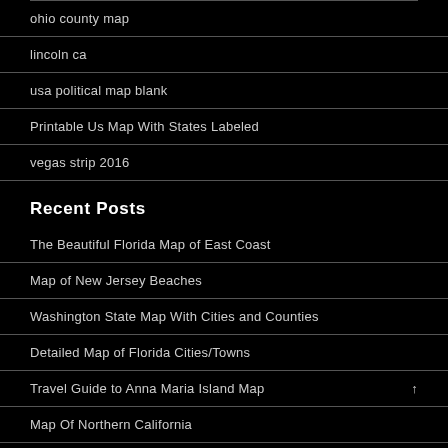ohio county map
lincoln ca
usa political map blank
Printable Us Map With States Labeled
vegas strip 2016
Recent Posts
The Beautiful Florida Map of East Coast
Map of New Jersey Beaches
Washington State Map With Cities and Counties
Detailed Map of Florida Cities/Towns
Travel Guide to Anna Maria Island Map
Map Of Northern California